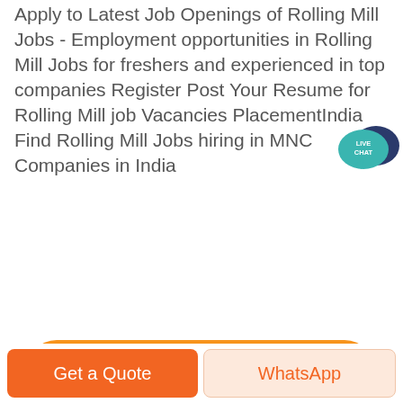Apply to Latest Job Openings of Rolling Mill Jobs - Employment opportunities in Rolling Mill Jobs for freshers and experienced in top companies Register Post Your Resume for Rolling Mill job Vacancies PlacementIndia Find Rolling Mill Jobs hiring in MNC Companies in India
[Figure (illustration): Live chat speech bubble icon in teal/dark blue color with text LIVE CHAT]
[Figure (other): Orange rounded rectangle button labeled Get price]
[Figure (photo): Blue sky photo, partially visible at bottom of page]
[Figure (other): Black circular scroll-to-top button with chevron up arrow]
[Figure (other): Bottom action bar with orange Get a Quote button and light peach WhatsApp button]